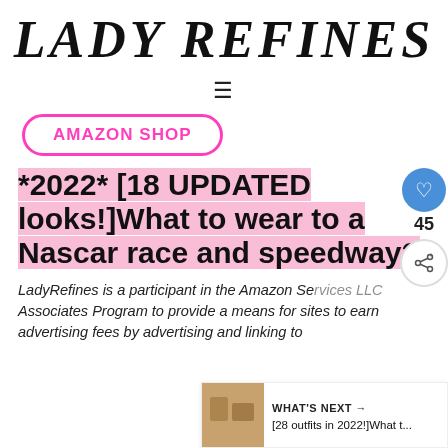LADY REFINES
≡
AMAZON SHOP
*2022* [18 UPDATED looks!]What to wear to a Nascar race and speedway?
LadyRefines is a participant in the Amazon Services LLC Associates Program to provide a means for sites to earn advertising fees by advertising and linking to
WHAT'S NEXT → [28 outfits in 2022!]What t...